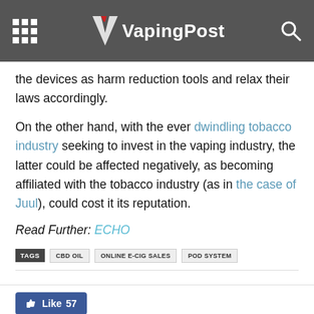VapingPost
the devices as harm reduction tools and relax their laws accordingly.
On the other hand, with the ever dwindling tobacco industry seeking to invest in the vaping industry, the latter could be affected negatively, as becoming affiliated with the tobacco industry (as in the case of Juul), could cost it its reputation.
Read Further: ECHO
TAGS  CBD OIL  ONLINE E-CIG SALES  POD SYSTEM
[Figure (other): Facebook Like button showing 57 likes, and social sharing buttons (Facebook, Twitter, Pinterest, WhatsApp)]